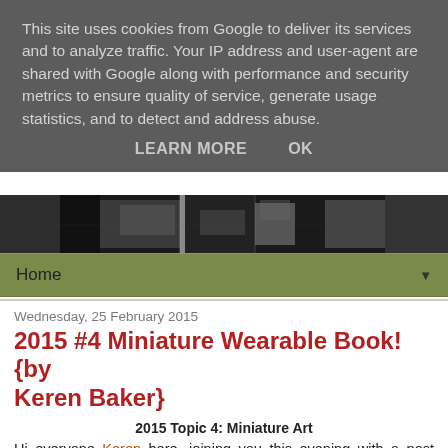This site uses cookies from Google to deliver its services and to analyze traffic. Your IP address and user-agent are shared with Google along with performance and security metrics to ensure quality of service, generate usage statistics, and to detect and address abuse.
LEARN MORE   OK
[Figure (photo): Black and white header image strip, appears to be a photograph of an interior or architectural scene]
Home ▼
Wednesday, 25 February 2015
2015 #4 Miniature Wearable Book! {by Keren Baker}
2015 Topic 4: Miniature Art
Hi everyone Keren here, joining you this evening with a post about creating miniature wearable art. I love creating detail on projects decided to make a useful piece of art that you can both wear plus use to jot down last minutes notes or a